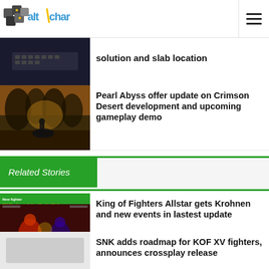altchar
solution and slab location
Pearl Abyss offer update on Crimson Desert development and upcoming gameplay demo
Related Stories
King of Fighters Allstar gets Krohnen and new events in lastest update
SNK adds roadmap for KOF XV fighters, announces crossplay release